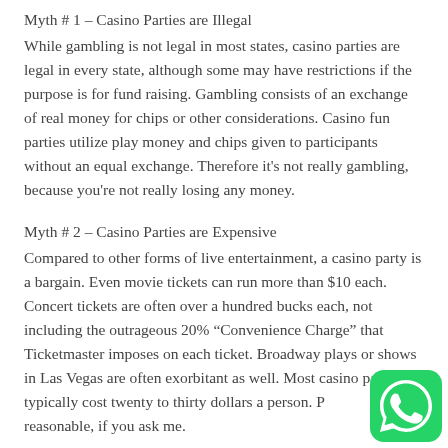Myth # 1 – Casino Parties are Illegal
While gambling is not legal in most states, casino parties are legal in every state, although some may have restrictions if the purpose is for fund raising. Gambling consists of an exchange of real money for chips or other considerations. Casino fun parties utilize play money and chips given to participants without an equal exchange. Therefore it's not really gambling, because you're not really losing any money.
Myth # 2 – Casino Parties are Expensive
Compared to other forms of live entertainment, a casino party is a bargain. Even movie tickets can run more than $10 each. Concert tickets are often over a hundred bucks each, not including the outrageous 20% “Convenience Charge” that Ticketmaster imposes on each ticket. Broadway plays or shows in Las Vegas are often exorbitant as well. Most casino parties typically cost twenty to thirty dollars a person. Pretty reasonable, if you ask me.